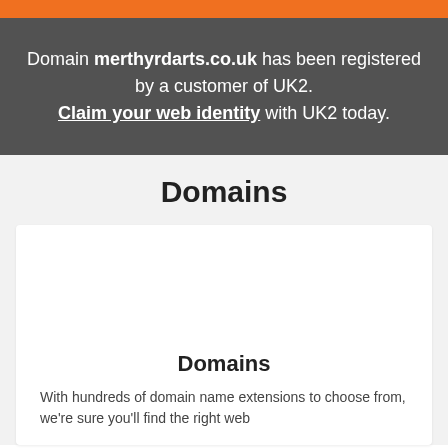Domain merthyrdarts.co.uk has been registered by a customer of UK2. Claim your web identity with UK2 today.
Domains
Domains
With hundreds of domain name extensions to choose from, we're sure you'll find the right web